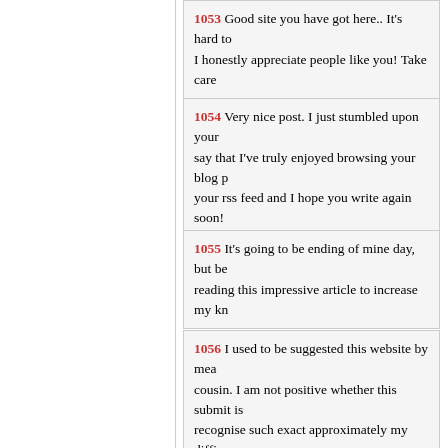1053 Good site you have got here.. It's hard to find quality writing like yours nowadays. I honestly appreciate people like you! Take care
Posted by: t advance supplement at April 20, 2015 01:3
1054 Very nice post. I just stumbled upon your weblog and wanted to say that I've truly enjoyed browsing your blog p... your rss feed and I hope you write again soon!
Posted by: where can i buy forskolin extract at April 20
1055 It's going to be ending of mine day, but be... reading this impressive article to increase my kn
Posted by: Flawless Beauty at April 20, 2015 02:00 AM
1056 I used to be suggested this website by mea... cousin. I am not positive whether this submit is ... recognise such exact approximately my difficu... Thank you!
Posted by: Real Estate in Belize at April 20, 2015 02:18